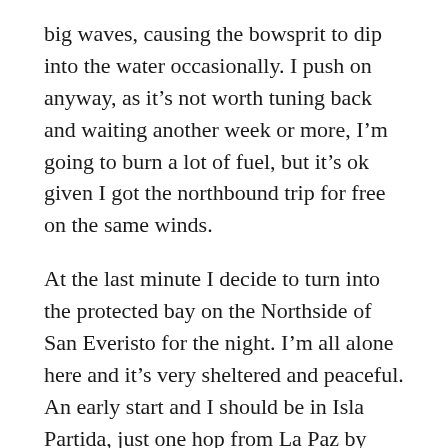big waves, causing the bowsprit to dip into the water occasionally. I push on anyway, as it's not worth tuning back and waiting another week or more, I'm going to burn a lot of fuel, but it's ok given I got the northbound trip for free on the same winds.
At the last minute I decide to turn into the protected bay on the Northside of San Everisto for the night. I'm all alone here and it's very sheltered and peaceful. An early start and I should be in Isla Partida, just one hop from La Paz by tomorrow afternoon.
Monday 6th June
I head into Bahia Candeleros, as we did on the